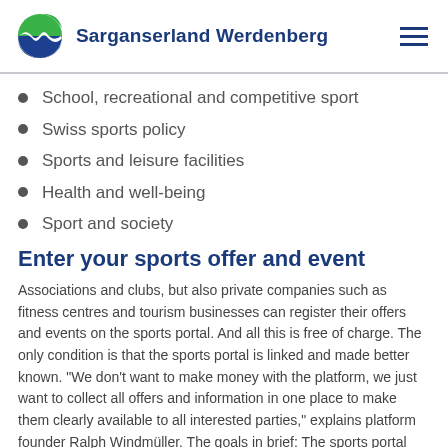Sarganserland Werdenberg
School, recreational and competitive sport
Swiss sports policy
Sports and leisure facilities
Health and well-being
Sport and society
Enter your sports offer and event
Associations and clubs, but also private companies such as fitness centres and tourism businesses can register their offers and events on the sports portal. And all this is free of charge. The only condition is that the sports portal is linked and made better known. "We don't want to make money with the platform, we just want to collect all offers and information in one place to make them clearly available to all interested parties," explains platform founder Ralph Windmüller. The goals in brief: The sports portal wants to strengthen the position of sport in society, promote knowledge transfer and contribute to the networking of sport in the region and